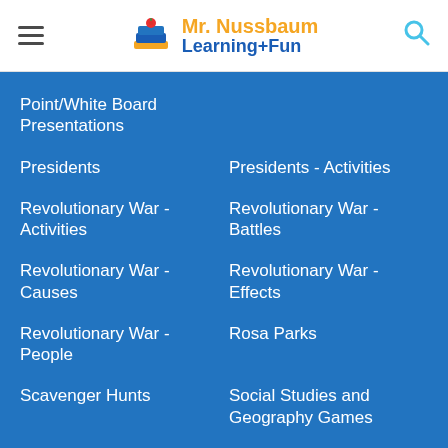Mr. Nussbaum Learning+Fun
Point/White Board Presentations
Presidents
Presidents - Activities
Revolutionary War - Activities
Revolutionary War - Battles
Revolutionary War - Causes
Revolutionary War - Effects
Revolutionary War - People
Rosa Parks
Scavenger Hunts
Social Studies and Geography Games
Susan B. Anthony
Text Elements and Text Structures in History
Thomas Jefferson
U.S. Constitution